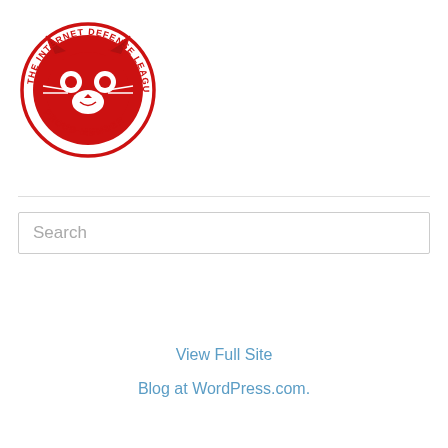[Figure (logo): The Internet Defense League – Proud Member badge: red circle with cat face in the center, text curved around the top reading 'THE INTERNET DEFENSE LEAGUE' and around the bottom reading 'PROUD MEMBER']
Search
View Full Site
Blog at WordPress.com.